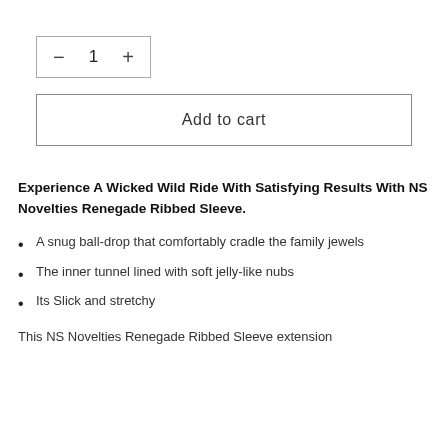- 1 +
Add to cart
Experience A Wicked Wild Ride With Satisfying Results With NS Novelties Renegade Ribbed Sleeve.
A snug ball-drop that comfortably cradle the family jewels
The inner tunnel lined with soft jelly-like nubs
Its Slick and stretchy
This NS Novelties Renegade Ribbed Sleeve extension